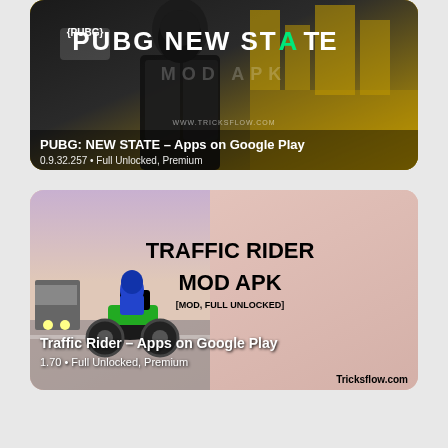[Figure (screenshot): PUBG: NEW STATE Mod APK card with yellow and dark background, game logo with green arrow, text overlay showing app name and version]
PUBG: NEW STATE – Apps on Google Play
0.9.32.257 • Full Unlocked, Premium
[Figure (screenshot): Traffic Rider Mod APK card with pink/peach background, motorcycle rider image on left, bold text TRAFFIC RIDER MOD APK [MOD, FULL UNLOCKED] on right]
Traffic Rider – Apps on Google Play
1.70 • Full Unlocked, Premium
Tricksflow.com